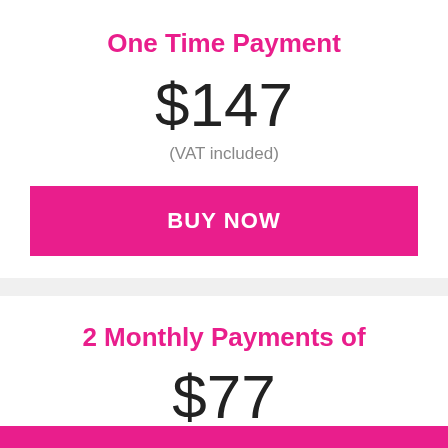One Time Payment
$147
(VAT included)
BUY NOW
2 Monthly Payments of
$77
(VAT included)